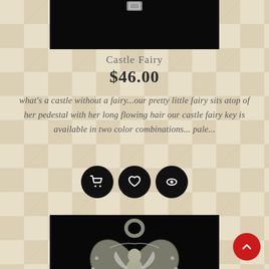[Figure (photo): Top portion of a silver jewelry item (castle fairy key) on black background, partially visible]
Castle Fairy
$46.00
what's a castle without a fairy...our pretty little fairy sits atop of her pedestal with her long flowing hair our castle fairy key is available in two color combinations... pale...
[Figure (infographic): Three circular black action buttons: shopping cart, heart/wishlist, and eye/view icons]
[Figure (photo): Silver heart-shaped charm/pendant with a fairy figure inside, set on black background]